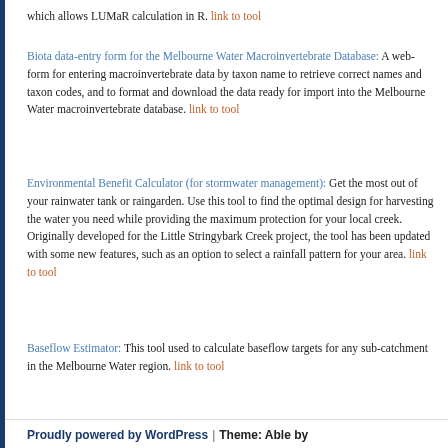which allows LUMaR calculation in R. link to tool
Biota data-entry form for the Melbourne Water Macroinvertebrate Database: A web-form for entering macroinvertebrate data by taxon name to retrieve correct names and taxon codes, and to format and download the data ready for import into the Melbourne Water macroinvertebrate database. link to tool
Environmental Benefit Calculator (for stormwater management): Get the most out of your rainwater tank or raingarden. Use this tool to find the optimal design for harvesting the water you need while providing the maximum protection for your local creek. Originally developed for the Little Stringybark Creek project, the tool has been updated with some new features, such as an option to select a rainfall pattern for your area. link to tool
Baseflow Estimator: This tool used to calculate baseflow targets for any sub-catchment in the Melbourne Water region. link to tool
Proudly powered by WordPress | Theme: Able by